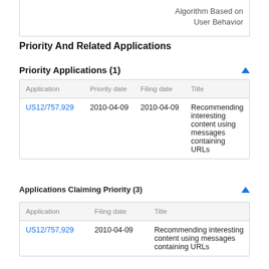|  | Algorithm Based on User Behavior |
| --- | --- |
Priority And Related Applications
Priority Applications (1)
| Application | Priority date | Filing date | Title |
| --- | --- | --- | --- |
| US12/757,929 | 2010-04-09 | 2010-04-09 | Recommending interesting content using messages containing URLs |
Applications Claiming Priority (3)
| Application | Filing date | Title |
| --- | --- | --- |
| US12/757,929 | 2010-04-09 | Recommending interesting content using messages containing URLs |